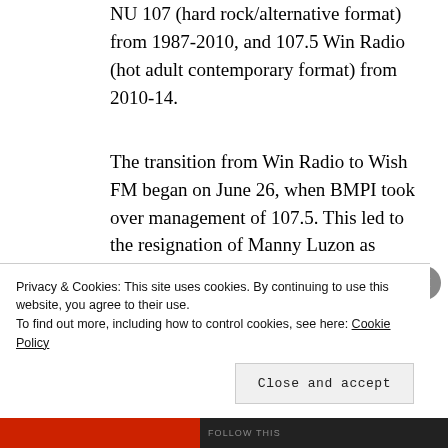NU 107 (hard rock/alternative format) from 1987-2010, and 107.5 Win Radio (hot adult contemporary format) from 2010-14.
The transition from Win Radio to Wish FM began on June 26, when BMPI took over management of 107.5. This led to the resignation of Manny Luzon as executive vice president of PBC and subsequent relocation of Win Radio to erstwhile sister station 91.5 Big Radio t...
Privacy & Cookies: This site uses cookies. By continuing to use this website, you agree to their use.
To find out more, including how to control cookies, see here: Cookie Policy
Close and accept